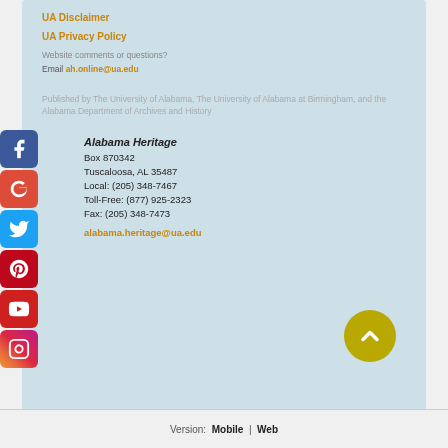UA Disclaimer
UA Privacy Policy
Website comments or questions?
Email ah.online@ua.edu
Published by The University of Alabama, The University of Alabama at Birmingham, and the Alabama Department of Archives and History
Alabama Heritage
Box 870342
Tuscaloosa, AL 35487
Local: (205) 348-7467
Toll-Free: (877) 925-2323
Fax: (205) 348-7473
alabama.heritage@ua.edu
Version: Mobile | Web